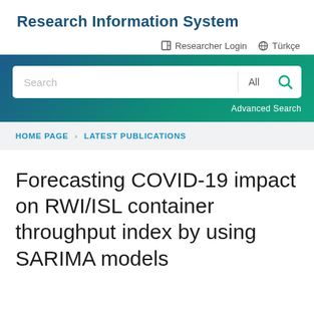Research Information System
Researcher Login   Türkçe
[Figure (screenshot): Search bar with gradient blue-to-green background, white search input box with 'Search' placeholder text, 'All' dropdown, and a teal search icon button. 'Advanced Search' text in bottom right.]
HOME PAGE > LATEST PUBLICATIONS
Forecasting COVID-19 impact on RWI/ISL container throughput index by using SARIMA models